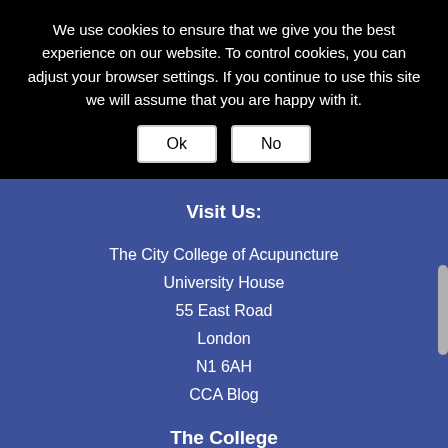We use cookies to ensure that we give you the best experience on our website. To control cookies, you can adjust your browser settings. If you continue to use this site we will assume that you are happy with it.
Ok | No
Visit Us:
The City College of Acupuncture
University House
55 East Road
London
N1 6AH
CCA Blog
The College
Home
Welcome
About Us
Why study with us?
Our Hands On Approach